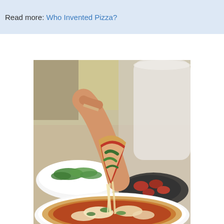Read more: Who Invented Pizza?
[Figure (photo): A hand lifting a cheesy pizza slice with stretchy mozzarella from a whole pizza on a white plate. A bowl of green salad and a dark plate with sausage toppings are visible in the background on an outdoor table.]